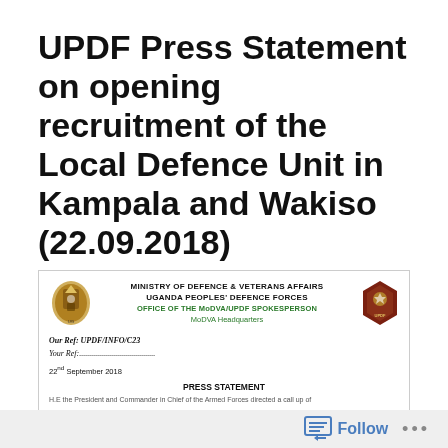UPDF Press Statement on opening recruitment of the Local Defence Unit in Kampala and Wakiso (22.09.2018)
[Figure (logo): Ministry of Defence & Veterans Affairs / Uganda Peoples' Defence Forces letterhead with coat of arms on left and UPDF badge on right]
Our Ref: UPDF/INFO/C23
Your Ref:......................................
22nd September 2018
PRESS STATEMENT
H.E the President and Commander in Chief of the Armed forces directed a call up of
Follow ...